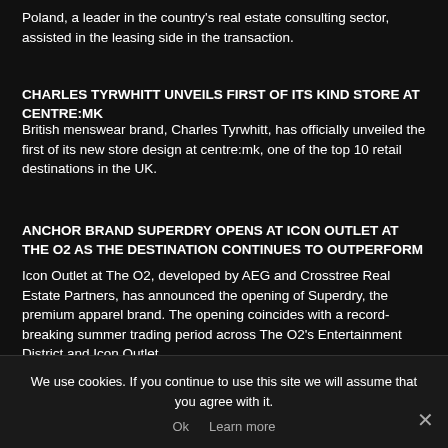Poland, a leader in the country's real estate consulting sector, assisted in the leasing side in the transaction.
CHARLES TYRWHITT UNVEILS FIRST OF ITS KIND STORE AT CENTRE:MK
British menswear brand, Charles Tyrwhitt, has officially unveiled the first of its new store design at centre:mk, one of the top 10 retail destinations in the UK.
ANCHOR BRAND SUPERDRY OPENS AT ICON OUTLET AT THE O2 AS THE DESTINATION CONTINUES TO OUTPERFORM
Icon Outlet at The O2, developed by AEG and Crosstree Real Estate Partners, has announced the opening of Superdry, the premium apparel brand. The opening coincides with a record-breaking summer trading period across The O2's Entertainment District and Icon Outlet.
We use cookies. If you continue to use this site we will assume that you agree with it.
Ok   Learn more